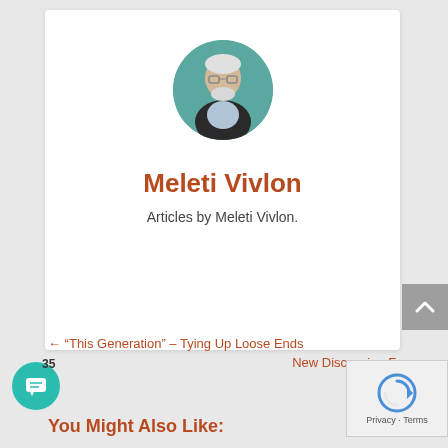[Figure (photo): Circular avatar photo of Meleti Vivlon, an older man with white hair and beard, wearing glasses, against a teal background]
Meleti Vivlon
Articles by Meleti Vivlon.
← “This Generation” – Tying Up Loose Ends
New Discussion Forum
You Might Also Like: